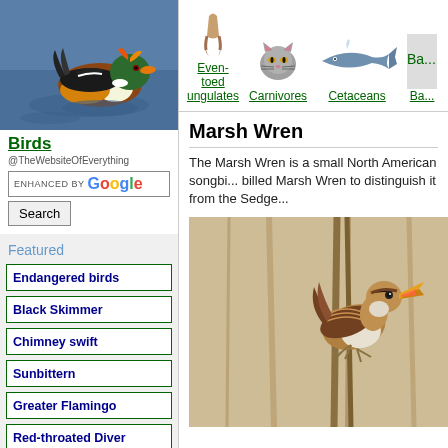[Figure (photo): Mandarin duck swimming on water, colorful plumage]
Birds
@TheWebsiteOfEverything
ENHANCED BY Google Search
Featured
Endangered birds
Black Skimmer
Chimney swift
Sunbittern
Greater Flamingo
Red-throated Diver
African grey parrot
Tundra swan
[Figure (photo): Navigation icons: Even-toed ungulates (hoof), Carnivores (cat), Cetaceans (whale), Ba... (partial)]
Marsh Wren
The Marsh Wren is a small North American songbi... billed Marsh Wren to distinguish it from the Sedge...
[Figure (photo): Marsh Wren bird perched on reed, singing with beak open and wing raised]